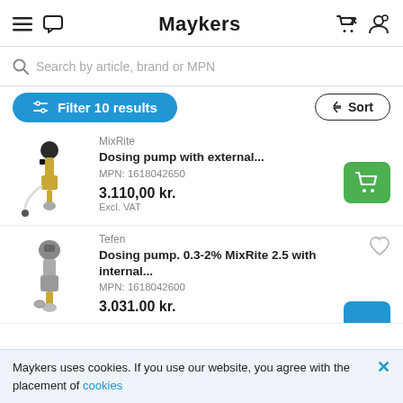Maykers
Search by article, brand or MPN
Filter 10 results   Sort
MixRite
Dosing pump with external...
MPN: 1618042650
3.110,00 kr.
Excl. VAT
Tefen
Dosing pump. 0.3-2% MixRite 2.5 with internal...
MPN: 1618042600
3.031.00 kr.
Maykers uses cookies. If you use our website, you agree with the placement of cookies